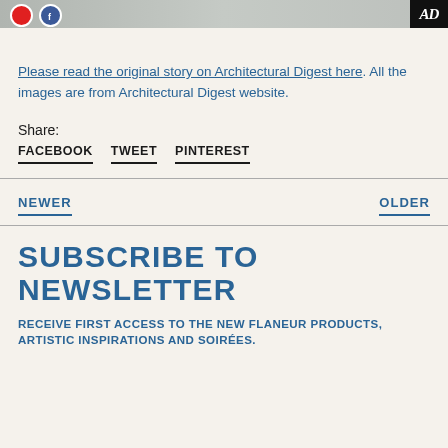[Figure (photo): Top image strip showing a partial outdoor deck/patio scene with social media icons (red/blue circles) on the left and an AD (Architectural Digest) logo badge on the right.]
Please read the original story on Architectural Digest here. All the images are from Architectural Digest website.
Share:
FACEBOOK  TWEET  PINTEREST
NEWER
OLDER
SUBSCRIBE TO NEWSLETTER
RECEIVE FIRST ACCESS TO THE NEW FLANEUR PRODUCTS, ARTISTIC INSPIRATIONS AND SOIRÉES.